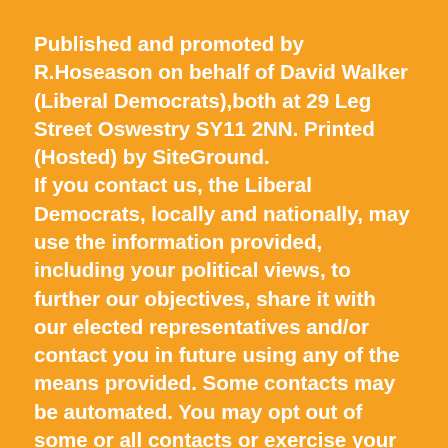Published and promoted by R.Hoseason on behalf of David Walker (Liberal Democrats),both at 29 Leg Street Oswestry SY11 2NN. Printed (Hosted) by SiteGround. If you contact us, the Liberal Democrats, locally and nationally, may use the information provided, including your political views, to further our objectives, share it with our elected representatives and/or contact you in future using any of the means provided. Some contacts may be automated. You may opt out of some or all contacts or exercise your other legal rights by contacting us. Further details are in our Privacy Policy www.libdems.org.uk/privacy. As a Liberal Democrat affiliated online page, we require that comments and posts here are not discriminatory towards, nor encourage discrimination against, or mistreatment of, any person or group who identifies with any of the protected characteristics listed here. We will also not tolerate abuse, or other behaviour that is in conflict with our Party's values. We may block or remove you if you post any